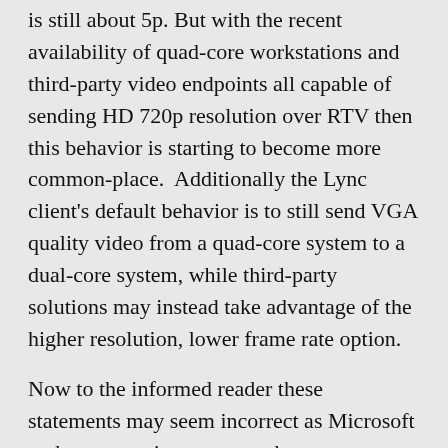is still about 5p. But with the recent availability of quad-core workstations and third-party video endpoints all capable of sending HD 720p resolution over RTV then this behavior is starting to become more common-place.  Additionally the Lync client's default behavior is to still send VGA quality video from a quad-core system to a dual-core system, while third-party solutions may instead take advantage of the higher resolution, lower frame rate option.
Now to the informed reader these statements may seem incorrect as Microsoft makes a generic statement about processor support in the official Lync TechNet documentation under Client Hardware Support which simply states: “For video: Dual Core 1.9 GHz processor or higher for VGA, Quad Core 2.0 GHz or higher for high definition.”  So technically this statement is not completely accurate and should